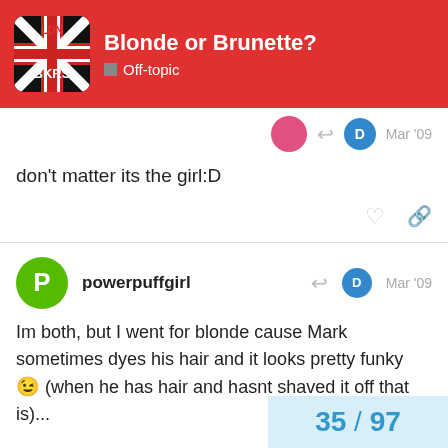Blonde or Brunette? — Off-topic
don't matter its the girl:D
powerpuffgirl — Mar '09
Im both, but I went for blonde cause Mark sometimes dyes his hair and it looks pretty funky 😉 (when he has hair and hasnt shaved it off that is)...

Just to show you:
35 / 97